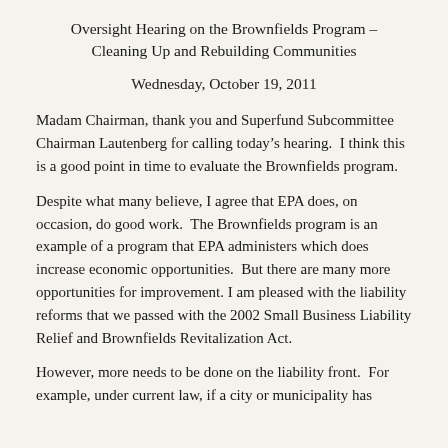Oversight Hearing on the Brownfields Program – Cleaning Up and Rebuilding Communities
Wednesday, October 19, 2011
Madam Chairman, thank you and Superfund Subcommittee Chairman Lautenberg for calling today's hearing.  I think this is a good point in time to evaluate the Brownfields program.
Despite what many believe, I agree that EPA does, on occasion, do good work.  The Brownfields program is an example of a program that EPA administers which does increase economic opportunities.  But there are many more opportunities for improvement. I am pleased with the liability reforms that we passed with the 2002 Small Business Liability Relief and Brownfields Revitalization Act.
However, more needs to be done on the liability front.  For example, under current law, if a city or municipality has